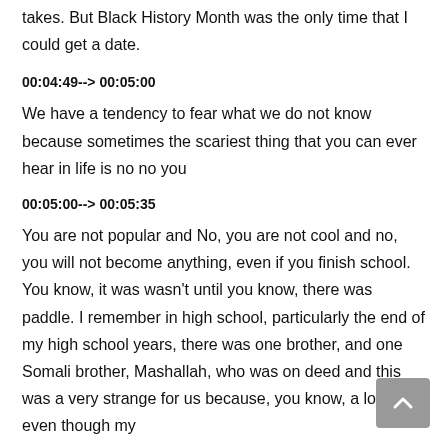takes. But Black History Month was the only time that I could get a date.
00:04:49--> 00:05:00
We have a tendency to fear what we do not know because sometimes the scariest thing that you can ever hear in life is no no you
00:05:00--> 00:05:35
You are not popular and No, you are not cool and no, you will not become anything, even if you finish school. You know, it was wasn't until you know, there was paddle. I remember in high school, particularly the end of my high school years, there was one brother, and one Somali brother, Mashallah, who was on deed and this was a very strange for us because, you know, a lot of us even though my